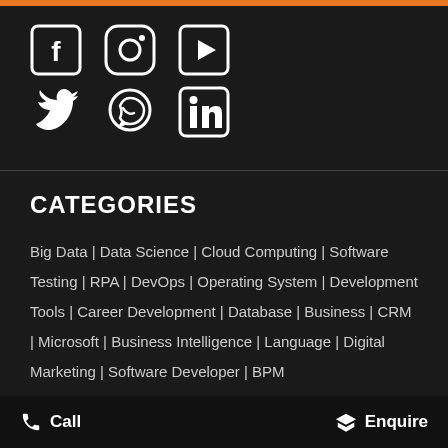[Figure (illustration): Social media icons: Facebook, Instagram, YouTube (top row); Twitter, WhatsApp, LinkedIn (bottom row) displayed as white outlined icons on dark background]
CATEGORIES
Big Data | Data Science | Cloud Computing | Software Testing | RPA | DevOps | Operating System | Development Tools | Career Development | Database | Business | CRM | Microsoft | Business Intelligence | Language | Digital Marketing | Software Developer | BPM
Call   Enquire